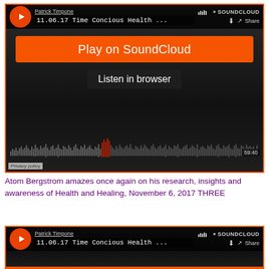[Figure (screenshot): SoundCloud embedded player for Patrick Timpone track '11.06.17 Time Concious Health ...' showing play button, Play on SoundCloud orange button, Listen in browser option, waveform with 59:40 duration, and privacy policy label]
Atom Bergstrom amazes once again on his research, insights and awareness of Health and Healing, November 6, 2017 THREE
[Figure (screenshot): Second SoundCloud embedded player for Patrick Timpone track '11.06.17 Time Concious Health ...' showing play button, artist name, track title, download and share buttons, SoundCloud logo]